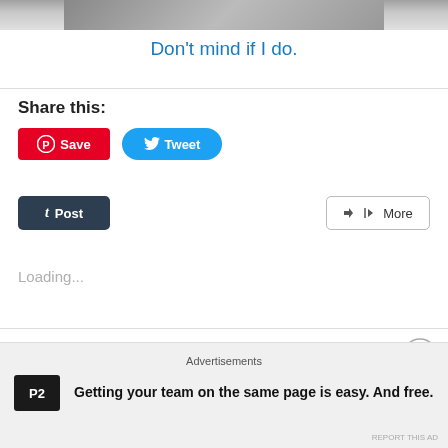[Figure (photo): Top portion of a photo, partially cropped, showing an animal (appears to be a cat or similar) on a surface.]
Don't mind if I do.
Share this:
[Figure (screenshot): Pinterest Save button (red rounded rectangle with Pinterest logo and text 'Save')]
[Figure (screenshot): Twitter Tweet button (blue rounded pill with Twitter bird logo and text 'Tweet')]
[Figure (screenshot): Tumblr Post button (dark navy rounded rectangle with 't' logo and text 'Post')]
[Figure (screenshot): More button (light rounded rectangle with share icon and text 'More')]
Loading...
Related
Advertisements
[Figure (screenshot): P2 advertisement banner: P2 logo (black square with P2 text) and bold text 'Getting your team on the same page is easy. And free.']